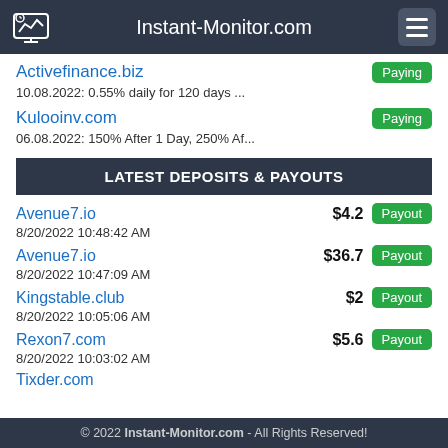Instant-Monitor.com
Activefinance.biz
10.08.2022: 0.55% daily for 120 days ...
Kulooinv.com
06.08.2022: 150% After 1 Day, 250% Af...
LATEST DEPOSITS & PAYOUTS
Avenue7.io
8/20/2022 10:48:42 AM
$4.2
Payout
Avenue7.io
8/20/2022 10:47:09 AM
$36.7
Payout
Kingstable.club
8/20/2022 10:05:06 AM
$2
Payout
Rexon7.com
8/20/2022 10:03:02 AM
$5.6
Payout
Tixder.com
© 2022 Instant-Monitor.com - All Rights Reserved!